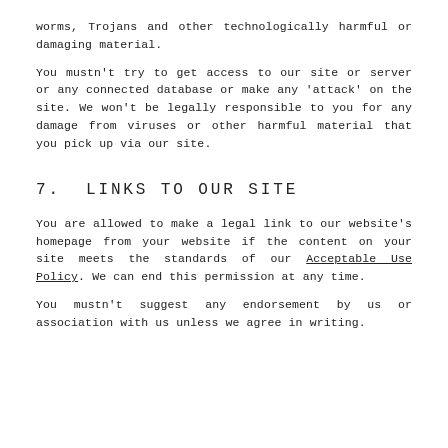worms, Trojans and other technologically harmful or damaging material.
You mustn't try to get access to our site or server or any connected database or make any 'attack' on the site. We won't be legally responsible to you for any damage from viruses or other harmful material that you pick up via our site.
7. LINKS TO OUR SITE
You are allowed to make a legal link to our website's homepage from your website if the content on your site meets the standards of our Acceptable Use Policy. We can end this permission at any time.
You mustn't suggest any endorsement by us or association with us unless we agree in writing.